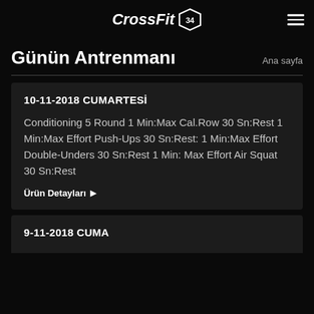CrossFit 34
Günün Antrenmanı
Ana sayfa
10-11-2018 CUMARTESİ
Conditioning 5 Round 1 Min:Max Cal.Row 30 Sn:Rest 1 Min:Max Effort Push-Ups 30 Sn:Rest: 1 Min:Max Effort Double-Unders 30 Sn:Rest 1 Min: Max Effort Air Squat 30 Sn:Rest
Ürün Detayları ▶
9-11-2018 CUMA